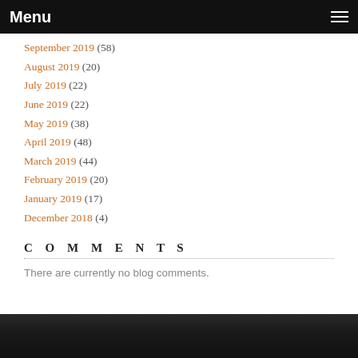Menu
September 2019 (58)
August 2019 (20)
July 2019 (22)
June 2019 (22)
May 2019 (38)
April 2019 (48)
March 2019 (44)
February 2019 (20)
January 2019 (17)
December 2018 (4)
COMMENTS
There are currently no blog comments.